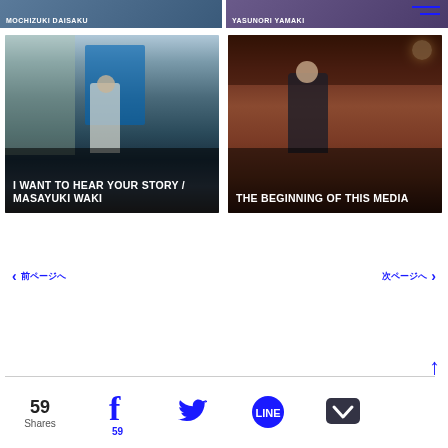[Figure (photo): Partial top strip showing two photos with white text labels - left appears to say MOCHIZUKI DAISAKU, right says YASUNORI YAMAKI]
[Figure (photo): Photo of man in white shirt standing on a street with text overlay: I WANT TO HEAR YOUR STORY / MASAYUKI WAKI]
[Figure (photo): Photo of man in dark jacket sitting indoors with text overlay: THE BEGINNING OF THIS MEDIA]
前ページへ  次ページへ
59 Shares
59 (Facebook shares)